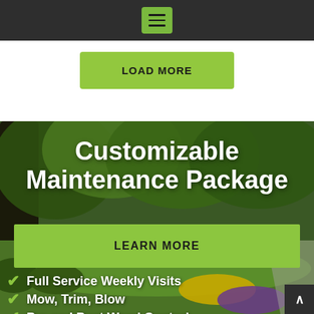[Figure (screenshot): Dark top navigation bar with a green hamburger menu icon centered]
LOAD MORE
[Figure (photo): Background photo of a landscaped yard with large trees, manicured shrubs, and colorful flower beds]
Customizable Maintenance Package
LEARN MORE
Full Service Weekly Visits
Mow, Trim, Blow
Pre and Post Weed Control